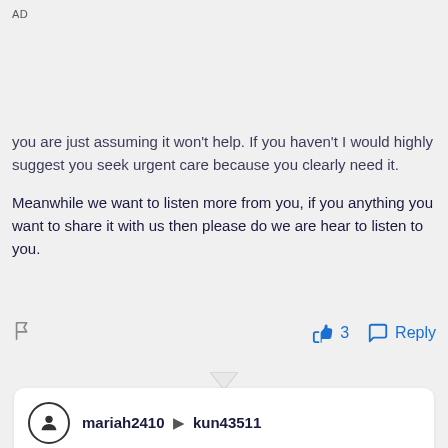AD
you are just assuming it won't help. If you haven't I would highly suggest you seek urgent care because you clearly need it.

Meanwhile we want to listen more from you, if you anything you want to share it with us then please do we are hear to listen to you.
👍 3   Reply
mariah2410 ▶ kun43511
Posted 4 years ago